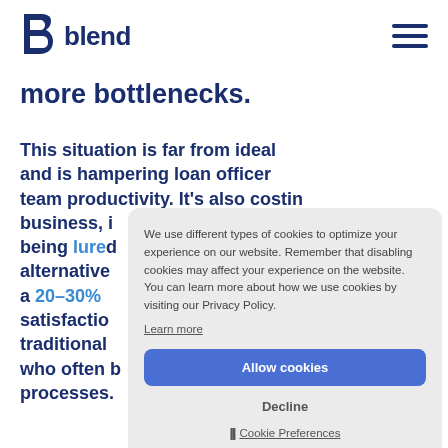blend
more bottlenecks.
This situation is far from ideal and is hampering loan officer team productivity. It's also costing business, i being lured alternative a 20–30% satisfactio traditional who often b processes.
We use different types of cookies to optimize your experience on our website. Remember that disabling cookies may affect your experience on the website. You can learn more about how we use cookies by visiting our Privacy Policy.
Learn more
Allow cookies
Decline
Cookie Preferences